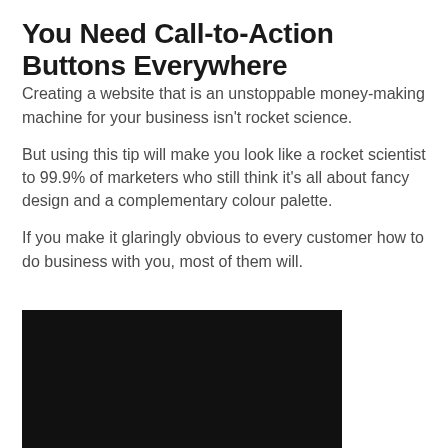You Need Call-to-Action Buttons Everywhere
Creating a website that is an unstoppable money-making machine for your business isn't rocket science.
But using this tip will make you look like a rocket scientist to 99.9% of marketers who still think it's all about fancy design and a complementary colour palette.
If you make it glaringly obvious to every customer how to do business with you, most of them will.
[Figure (photo): Dark/black image, partially visible at the bottom of the page]